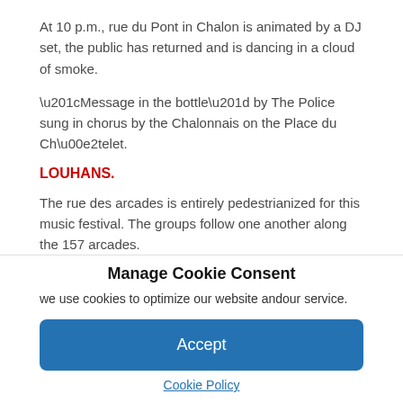At 10 p.m., rue du Pont in Chalon is animated by a DJ set, the public has returned and is dancing in a cloud of smoke.
“Message in the bottle” by The Police sung in chorus by the Chalonnais on the Place du Châtelet.
LOUHANS.
The rue des arcades is entirely pedestrianized for this music festival. The groups follow one another along the 157 arcades.
Manage Cookie Consent
we use cookies to optimize our website andour service.
Accept
Cookie Policy